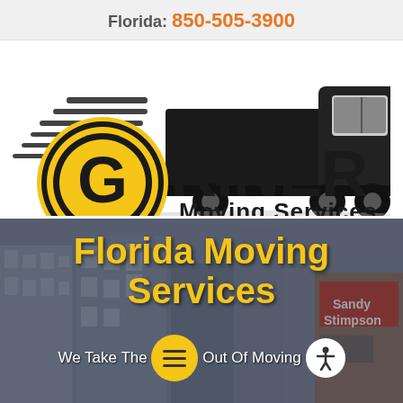Florida: 850-505-3900
[Figure (logo): Griner Moving Services logo with a black moving truck silhouette with speed lines above, and a gold/yellow circular G emblem badge on the left, with 'RINER Moving Services' text to the right in bold black lettering.]
[Figure (photo): Background photo of a city street with buildings, overlaid with yellow bold text 'Florida Moving Services' and white text 'We Take The [menu icon] Out Of Moving', with a yellow circular menu hamburger icon and a white circular accessibility icon.]
Florida Moving Services
We Take The Out Of Moving